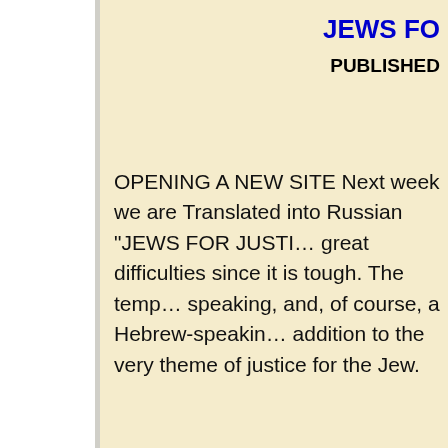JEWS FO…
PUBLISHED…
OPENING A NEW SITE Next week we are Translated into Russian "JEWS FOR JUSTI… great difficulties since it is tough. The temp… speaking, and, of course, a Hebrew-speakin… addition to the very theme of justice for the Jew.
HOMO SA…
PUBLISHED…